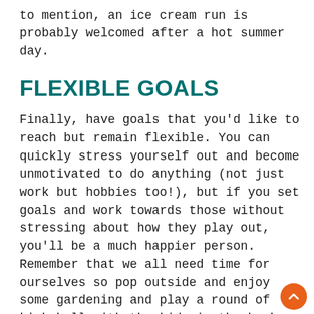to mention, an ice cream run is probably welcomed after a hot summer day.
FLEXIBLE GOALS
Finally, have goals that you'd like to reach but remain flexible. You can quickly stress yourself out and become unmotivated to do anything (not just work but hobbies too!), but if you set goals and work towards those without stressing about how they play out, you'll be a much happier person. Remember that we all need time for ourselves so pop outside and enjoy some gardening and play a round of kick ball with the kids in the back yard. Use the hot weather as a chance to get outside, breath in some fresh air and recharge. Only then, can you do your best work.
What will you do this summer to recharge?